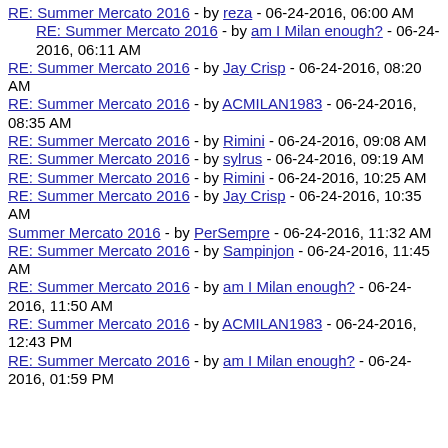RE: Summer Mercato 2016 - by reza - 06-24-2016, 06:00 AM
RE: Summer Mercato 2016 - by am I Milan enough? - 06-24-2016, 06:11 AM
RE: Summer Mercato 2016 - by Jay Crisp - 06-24-2016, 08:20 AM
RE: Summer Mercato 2016 - by ACMILAN1983 - 06-24-2016, 08:35 AM
RE: Summer Mercato 2016 - by Rimini - 06-24-2016, 09:08 AM
RE: Summer Mercato 2016 - by sylrus - 06-24-2016, 09:19 AM
RE: Summer Mercato 2016 - by Rimini - 06-24-2016, 10:25 AM
RE: Summer Mercato 2016 - by Jay Crisp - 06-24-2016, 10:35 AM
Summer Mercato 2016 - by PerSempre - 06-24-2016, 11:32 AM
RE: Summer Mercato 2016 - by Sampinjon - 06-24-2016, 11:45 AM
RE: Summer Mercato 2016 - by am I Milan enough? - 06-24-2016, 11:50 AM
RE: Summer Mercato 2016 - by ACMILAN1983 - 06-24-2016, 12:43 PM
RE: Summer Mercato 2016 - by am I Milan enough? - 06-24-2016, 01:59 PM